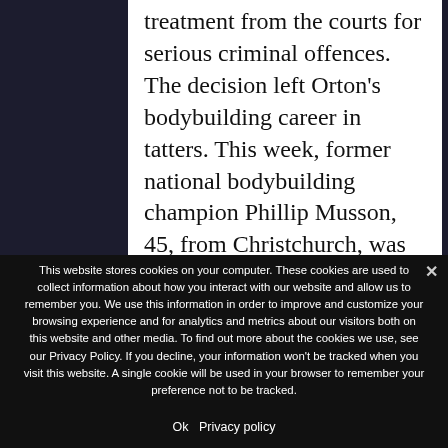treatment from the courts for serious criminal offences. The decision left Orton's bodybuilding career in tatters. This week, former national bodybuilding champion Phillip Musson, 45, from Christchurch, was sentenced to nearly four and
This website stores cookies on your computer. These cookies are used to collect information about how you interact with our website and allow us to remember you. We use this information in order to improve and customize your browsing experience and for analytics and metrics about our visitors both on this website and other media. To find out more about the cookies we use, see our Privacy Policy. If you decline, your information won't be tracked when you visit this website. A single cookie will be used in your browser to remember your preference not to be tracked.
Ok   Privacy policy